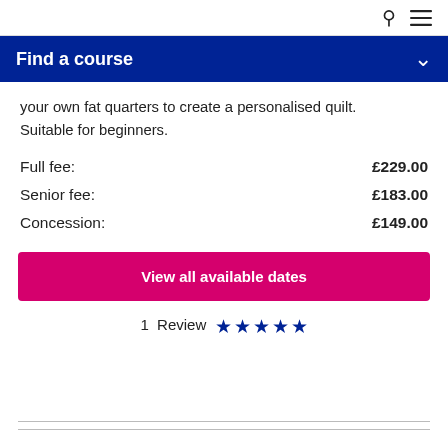Search / Menu
Find a course
your own fat quarters to create a personalised quilt. Suitable for beginners.
Full fee: £229.00
Senior fee: £183.00
Concession: £149.00
View all available dates
1 Review ★★★★★